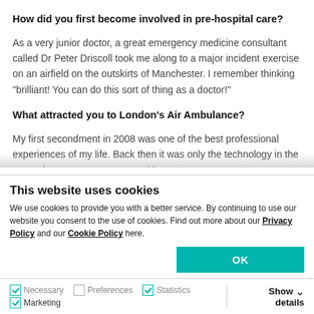How did you first become involved in pre-hospital care?
As a very junior doctor, a great emergency medicine consultant called Dr Peter Driscoll took me along to a major incident exercise on an airfield on the outskirts of Manchester. I remember thinking “brilliant! You can do this sort of thing as a doctor!”
What attracted you to London’s Air Ambulance?
My first secondment in 2008 was one of the best professional experiences of my life. Back then it was
This website uses cookies
We use cookies to provide you with a better service. By continuing to use our website you consent to the use of cookies. Find out more about our Privacy Policy and our Cookie Policy here.
OK
Necessary  Preferences  Statistics  Marketing  Show details